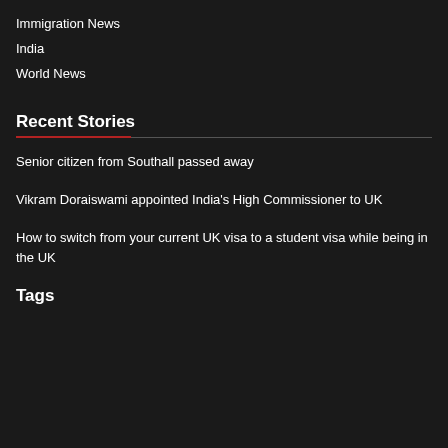Immigration News
India
World News
Recent Stories
Senior citizen from Southall passed away
Vikram Doraiswami appointed India's High Commissioner to UK
How to switch from your current UK visa to a student visa while being in the UK
Tags